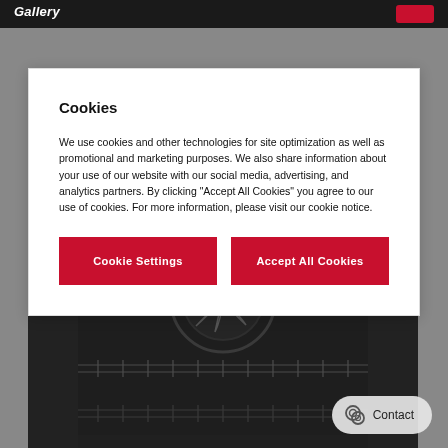Gallery
Cookies
We use cookies and other technologies for site optimization as well as promotional and marketing purposes. We also share information about your use of our website with our social media, advertising, and analytics partners. By clicking “Accept All Cookies” you agree to our use of cookies. For more information, please visit our cookie notice.
Cookie Settings
Accept All Cookies
[Figure (photo): Interior of a dark oven with wire rack shelves and a circular fan visible at the back]
Contact